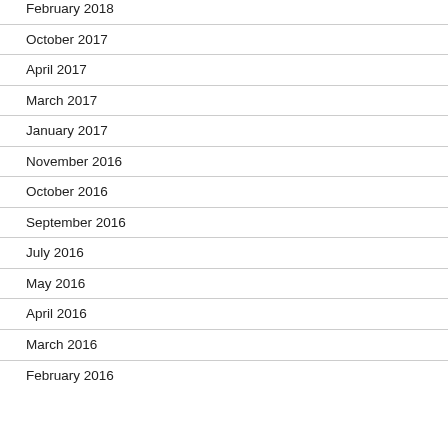February 2018
October 2017
April 2017
March 2017
January 2017
November 2016
October 2016
September 2016
July 2016
May 2016
April 2016
March 2016
February 2016